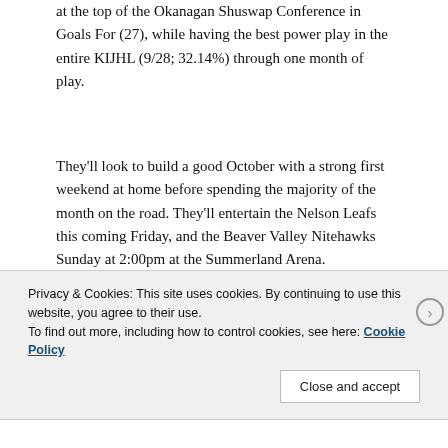at the top of the Okanagan Shuswap Conference in Goals For (27), while having the best power play in the entire KIJHL (9/28; 32.14%) through one month of play.
They'll look to build a good October with a strong first weekend at home before spending the majority of the month on the road. They'll entertain the Nelson Leafs this coming Friday, and the Beaver Valley Nitehawks Sunday at 2:00pm at the Summerland Arena.
Privacy & Cookies: This site uses cookies. By continuing to use this website, you agree to their use.
To find out more, including how to control cookies, see here: Cookie Policy